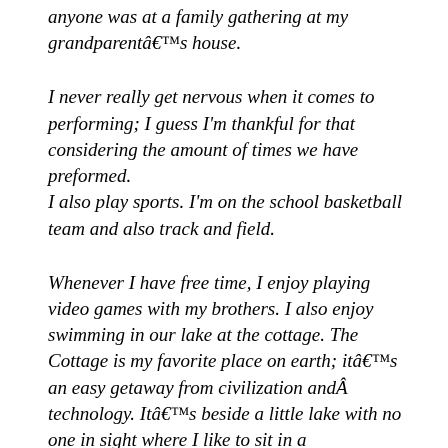anyone was at a family gathering at my grandparentâ€™s house.
I never really get nervous when it comes to performing; I guess I'm thankful for that considering the amount of times we have preformed.
I also play sports. I'm on the school basketball team and also track and field.
Whenever I have free time, I enjoy playing video games with my brothers. I also enjoy swimming in our lake at the cottage. The Cottage is my favorite place on earth; itâ€™s an easy getaway from civilization andÂ technology. Itâ€™s beside a little lake with no one in sight where I like to sit in a